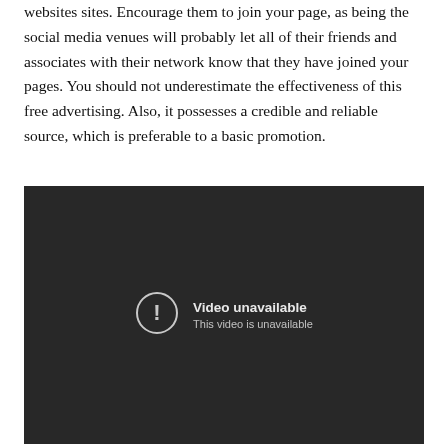websites sites. Encourage them to join your page, as being the social media venues will probably let all of their friends and associates with their network know that they have joined your pages. You should not underestimate the effectiveness of this free advertising. Also, it possesses a credible and reliable source, which is preferable to a basic promotion.
[Figure (screenshot): Embedded video player showing 'Video unavailable' error message with a circle exclamation icon and text 'This video is unavailable' on a dark background.]